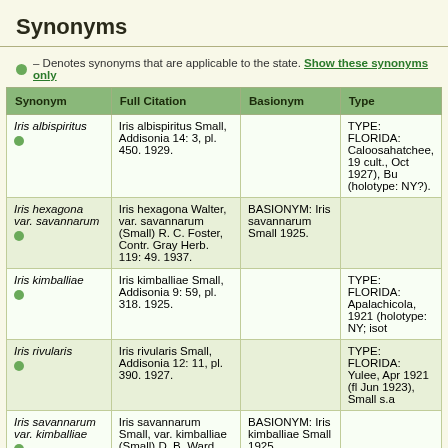Synonyms
● – Denotes synonyms that are applicable to the state. Show these synonyms only
| Synonym | Full Citation | Basionym | Type |
| --- | --- | --- | --- |
| Iris albispiritus | Iris albispiritus Small, Addisonia 14: 3, pl. 450. 1929. |  | TYPE: FLORIDA: Caloosahatchee, 19 cult., Oct 1927), Bu (holotype: NY?). |
| Iris hexagona var. savannarum | Iris hexagona Walter, var. savannarum (Small) R. C. Foster, Contr. Gray Herb. 119: 49. 1937. | BASIONYM: Iris savannarum Small 1925. |  |
| Iris kimballiae | Iris kimballiae Small, Addisonia 9: 59, pl. 318. 1925. |  | TYPE: FLORIDA: Apalachicola, 1921 (holotype: NY; isot |
| Iris rivularis | Iris rivularis Small, Addisonia 12: 11, pl. 390. 1927. |  | TYPE: FLORIDA: Yulee, Apr 1921 (fl Jun 1923), Small s.a |
| Iris savannarum var. kimballiae | Iris savannarum Small, var. kimballiae (Small) D. B. Ward, Phytologia 93: 236. 2011. | BASIONYM: Iris kimballiae Small 1925. |  |